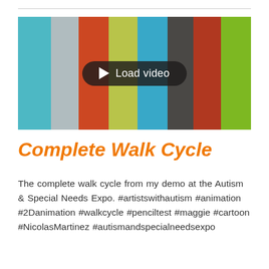[Figure (screenshot): Video thumbnail with colorful vertical stripes (teal, light gray, dark orange/red, yellow-green, blue, dark charcoal, dark red, green) and a 'Load video' button overlay in the center]
Complete Walk Cycle
The complete walk cycle from my demo at the Autism & Special Needs Expo. #artistswithautism #animation #2Danimation #walkcycle #penciltest #maggie #cartoon #NicolasMartinez #autismandspecialneedsexpo